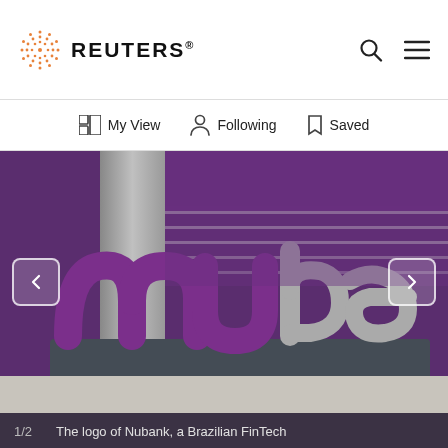REUTERS®
[Figure (logo): Reuters logo with orange dot-circle icon and REUTERS® text]
My View  Following  Saved
[Figure (photo): Photo of Nubank logo sign - large purple and silver 3D letters spelling 'nubank' on a dark base, with a woman walking blurred in background in front of purple wall with glass railings]
1/2   The logo of Nubank, a Brazilian FinTech